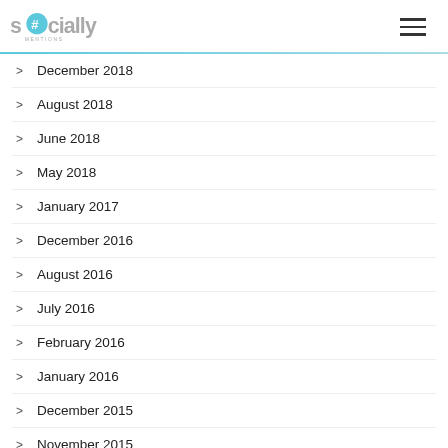Socially
December 2018
August 2018
June 2018
May 2018
January 2017
December 2016
August 2016
July 2016
February 2016
January 2016
December 2015
November 2015
September 2015
July 2015